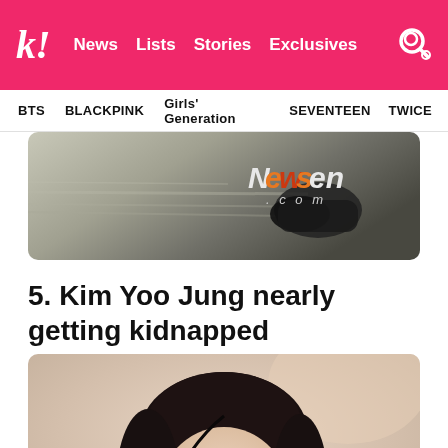k! News Lists Stories Exclusives
BTS  BLACKPINK  Girls' Generation  SEVENTEEN  TWICE
[Figure (photo): Newsен.com watermarked photo — blurred motion shot of feet/shoes on a surface]
5. Kim Yoo Jung nearly getting kidnapped
[Figure (photo): Close-up portrait photo of Kim Yoo Jung, young Korean woman with dark hair against blurred light background]